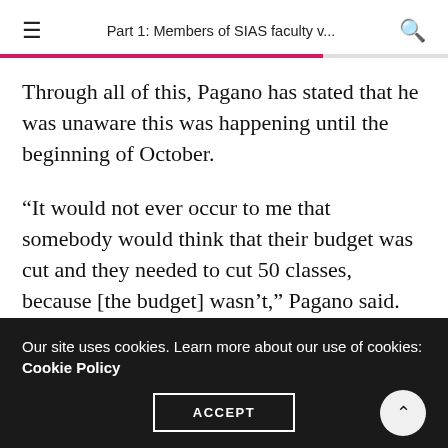Part 1: Members of SIAS faculty v...
Through all of this, Pagano has stated that he was unaware this was happening until the beginning of October.
“It would not ever occur to me that somebody would think that their budget was cut and they needed to cut 50 classes, because [the budget] wasn’t,” Pagano said. “That’s why I didn’t know that the summer started going forward and that school that cut classes got worried
Our site uses cookies. Learn more about our use of cookies: Cookie Policy